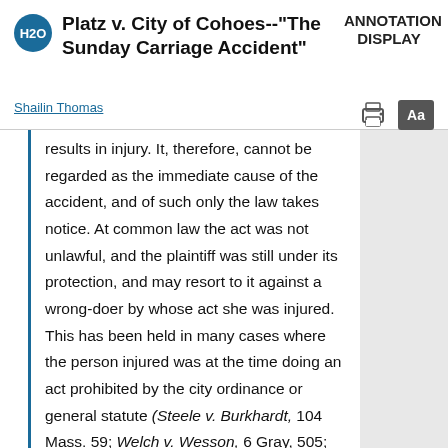Platz v. City of Cohoes--"The Sunday Carriage Accident"
ANNOTATION DISPLAY
Shailin Thomas
results in injury. It, therefore, cannot be regarded as the immediate cause of the accident, and of such only the law takes notice. At common law the act was not unlawful, and the plaintiff was still under its protection, and may resort to it against a wrong-doer by whose act she was injured. This has been held in many cases where the person injured was at the time doing an act prohibited by the city ordinance or general statute (Steele v. Burkhardt, 104 Mass. 59; Welch v. Wesson, 6 Gray, 505; Morris v. Litchfield, 35 N. H. 271), and even violating the law